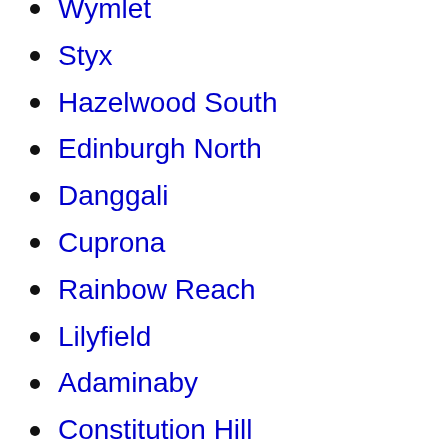Wymlet
Styx
Hazelwood South
Edinburgh North
Danggali
Cuprona
Rainbow Reach
Lilyfield
Adaminaby
Constitution Hill
Quindalup
Avon